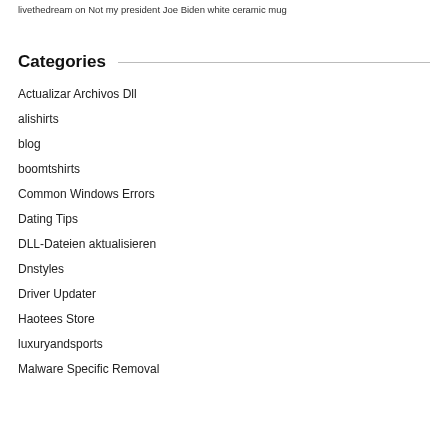livethedream on Not my president Joe Biden white ceramic mug
Categories
Actualizar Archivos Dll
alishirts
blog
boomtshirts
Common Windows Errors
Dating Tips
DLL-Dateien aktualisieren
Dnstyles
Driver Updater
Haotees Store
luxuryandsports
Malware Specific Removal